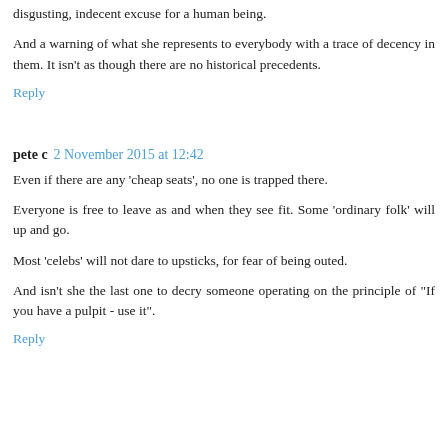disgusting, indecent excuse for a human being.
And a warning of what she represents to everybody with a trace of decency in them. It isn't as though there are no historical precedents.
Reply
pete c  2 November 2015 at 12:42
Even if there are any 'cheap seats', no one is trapped there.
Everyone is free to leave as and when they see fit. Some 'ordinary folk' will up and go.
Most 'celebs' will not dare to upsticks, for fear of being outed.
And isn't she the last one to decry someone operating on the principle of "If you have a pulpit - use it".
Reply